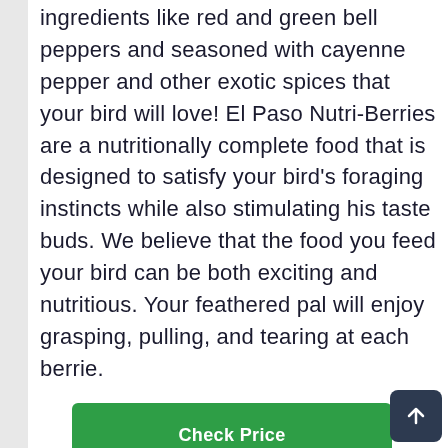ingredients like red and green bell peppers and seasoned with cayenne pepper and other exotic spices that your bird will love! El Paso Nutri-Berries are a nutritionally complete food that is designed to satisfy your bird's foraging instincts while also stimulating his taste buds. We believe that the food you feed your bird can be both exciting and nutritious. Your feathered pal will enjoy grasping, pulling, and tearing at each berrie.
[Figure (other): Green 'Check Price' button]
8. Living World Premium Mix For